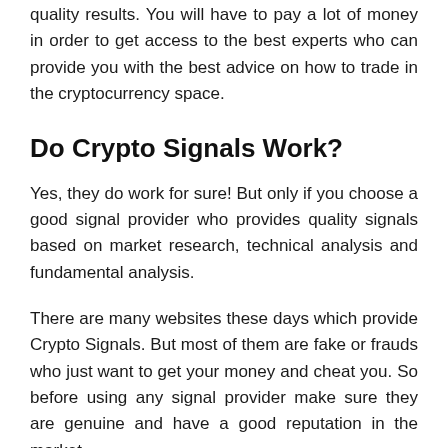quality results. You will have to pay a lot of money in order to get access to the best experts who can provide you with the best advice on how to trade in the cryptocurrency space.
Do Crypto Signals Work?
Yes, they do work for sure! But only if you choose a good signal provider who provides quality signals based on market research, technical analysis and fundamental analysis.
There are many websites these days which provide Crypto Signals. But most of them are fake or frauds who just want to get your money and cheat you. So before using any signal provider make sure they are genuine and have a good reputation in the market.